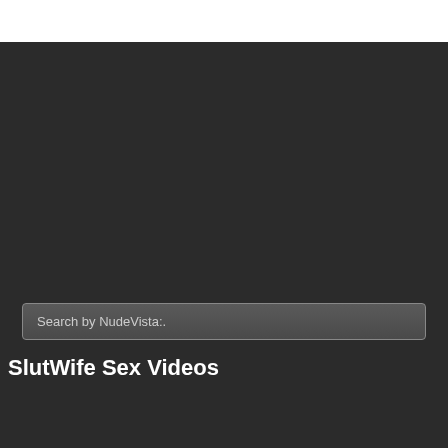[Figure (screenshot): White bar at top of page, likely a browser or website header area]
Search by NudeVista:.
SlutWife Sex Videos